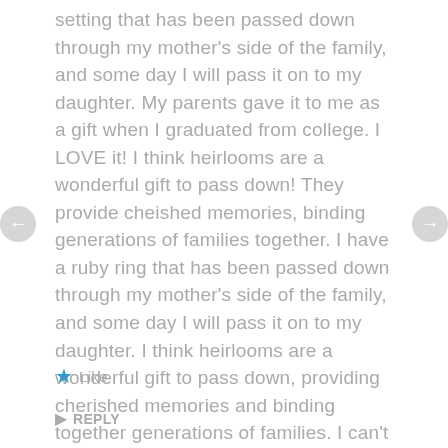setting that has been passed down through my mother's side of the family, and some day I will pass it on to my daughter. My parents gave it to me as a gift when I graduated from college. I LOVE it! I think heirlooms are a wonderful gift to pass down! They provide cheished memories, binding generations of families together. I have a ruby ring that has been passed down through my mother's side of the family, and some day I will pass it on to my daughter. I think heirlooms are a wonderful gift to pass down, providing cherished memories and binding together generations of families. I can't wait to read The Christmas Heirloom! Thanks for the chance to win a copy!! ~Alison Boss
Like
REPLY